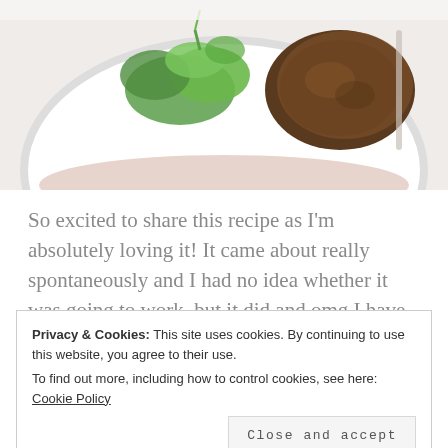[Figure (photo): Top portion of a plate with green leafy vegetables (spinach/greens) and a meat patty/burger on a white plate, photographed from above on a light background.]
So excited to share this recipe as I'm absolutely loving it! It came about really spontaneously and I had no idea whether it was going to work, but it did and omg I have been craving these pancakes ever since.
Privacy & Cookies: This site uses cookies. By continuing to use this website, you agree to their use.
To find out more, including how to control cookies, see here: Cookie Policy
Close and accept
and onion-free menu, follow IBS sufferers